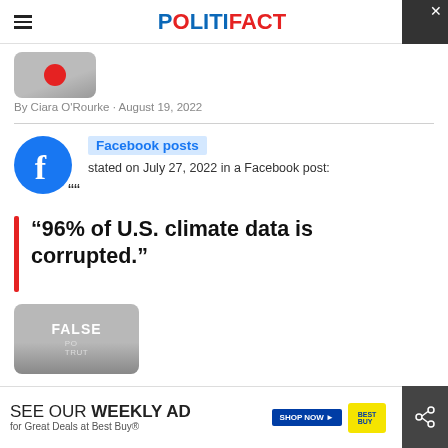POLITIFACT
[Figure (photo): Partial image at top, gray rounded rectangle with a red circle element visible]
By Ciara O'Rourke · August 19, 2022
[Figure (logo): Facebook logo — blue circle with white 'f']
Facebook posts stated on July 27, 2022 in a Facebook post:
“96% of U.S. climate data is corrupted.”
[Figure (photo): PolitiFact Truth-O-Meter graphic showing verdict: FALSE]
SEE OUR WEEKLY AD for Great Deals at Best Buy®